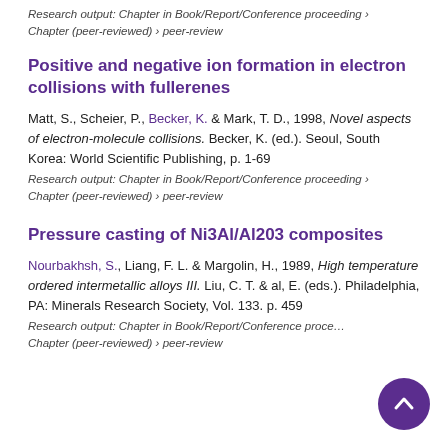Research output: Chapter in Book/Report/Conference proceeding › Chapter (peer-reviewed) › peer-review
Positive and negative ion formation in electron collisions with fullerenes
Matt, S., Scheier, P., Becker, K. & Mark, T. D., 1998, Novel aspects of electron-molecule collisions. Becker, K. (ed.). Seoul, South Korea: World Scientific Publishing, p. 1-69
Research output: Chapter in Book/Report/Conference proceeding › Chapter (peer-reviewed) › peer-review
Pressure casting of Ni3Al/Al203 composites
Nourbakhsh, S., Liang, F. L. & Margolin, H., 1989, High temperature ordered intermetallic alloys III. Liu, C. T. & al, E. (eds.). Philadelphia, PA: Minerals Research Society, Vol. 133. p. 459
Research output: Chapter in Book/Report/Conference proceeding › Chapter (peer-reviewed) › peer-review